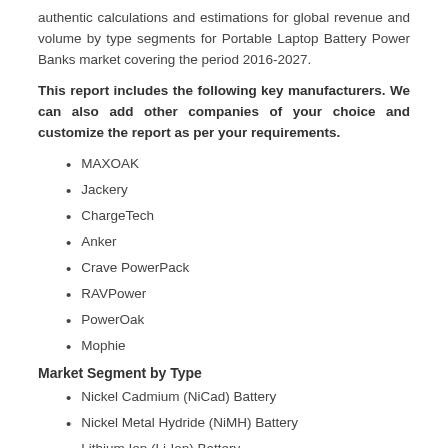authentic calculations and estimations for global revenue and volume by type segments for Portable Laptop Battery Power Banks market covering the period 2016-2027.
This report includes the following key manufacturers. We can also add other companies of your choice and customize the report as per your requirements.
MAXOAK
Jackery
ChargeTech
Anker
Crave PowerPack
RAVPower
PowerOak
Mophie
Market Segment by Type
Nickel Cadmium (NiCad) Battery
Nickel Metal Hydride (NiMH) Battery
Lithium Ion (Li-Ion) Battery